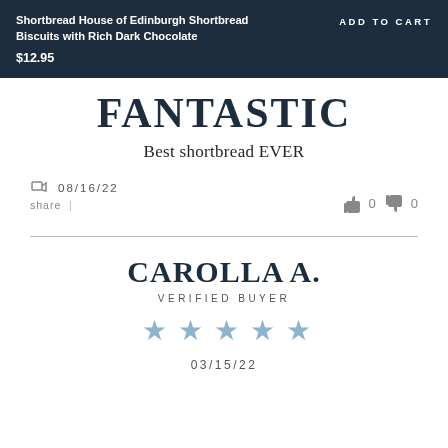Shortbread House of Edinburgh Shortbread Biscuits with Rich Dark Chocolate $12.95 ADD TO CART
FANTASTIC
Best shortbread EVER
share | 08/16/22
👍 0  👎 0
CAROLLA A.
VERIFIED BUYER
[Figure (other): Five light blue star rating icons]
03/15/22